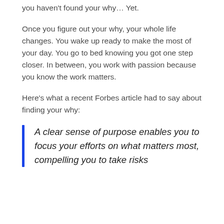you haven't found your why… Yet.
Once you figure out your why, your whole life changes. You wake up ready to make the most of your day. You go to bed knowing you got one step closer. In between, you work with passion because you know the work matters.
Here's what a recent Forbes article had to say about finding your why:
A clear sense of purpose enables you to focus your efforts on what matters most, compelling you to take risks